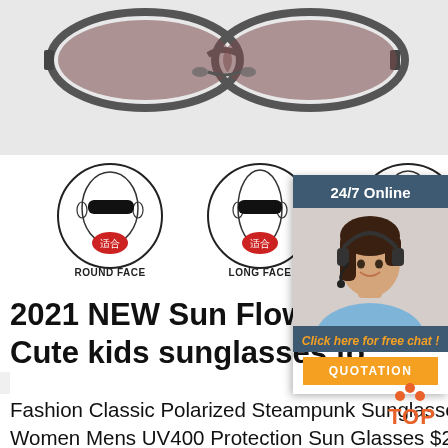[Figure (photo): Close-up bottom view of sunglasses on white/light grey background showing the nose bridge and frame underside]
[Figure (illustration): Three face type illustrations (Round Face, Long Face, Oval Face) each showing a drawn head wearing sunglasses with red Chinese character badge '适合']
[Figure (photo): Customer service agent photo: woman with headset smiling, under 24/7 Online header with chat widget]
2021 NEW Sun Flower Cute kids sunglasses fo...
...
Fashion Classic Polarized Steampunk Sunglasses Metal Frame Round Gothic Shades for Women Mens UV400 Protection Sun Glasses $24.00 MERRYS